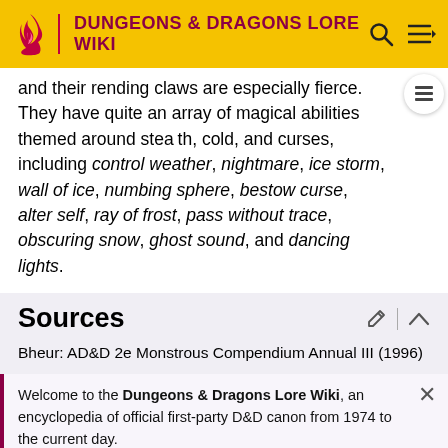DUNGEONS & DRAGONS LORE WIKI
and their rending claws are especially fierce. They have quite an array of magical abilities themed around stealth, cold, and curses, including control weather, nightmare, ice storm, wall of ice, numbing sphere, bestow curse, alter self, ray of frost, pass without trace, obscuring snow, ghost sound, and dancing lights.
Sources
Bheur: AD&D 2e Monstrous Compendium Annual III (1996)
Welcome to the Dungeons & Dragons Lore Wiki, an encyclopedia of official first-party D&D canon from 1974 to the current day. We need editors! See the editing guidelines for ways to